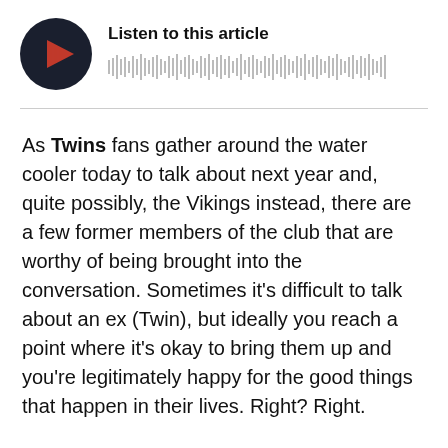[Figure (other): Audio player widget with dark circular play button showing red play icon and audio waveform visualization, with 'Listen to this article' title]
As Twins fans gather around the water cooler today to talk about next year and, quite possibly, the Vikings instead, there are a few former members of the club that are worthy of being brought into the conversation. Sometimes it's difficult to talk about an ex (Twin), but ideally you reach a point where it's okay to bring them up and you're legitimately happy for the good things that happen in their lives. Right? Right.